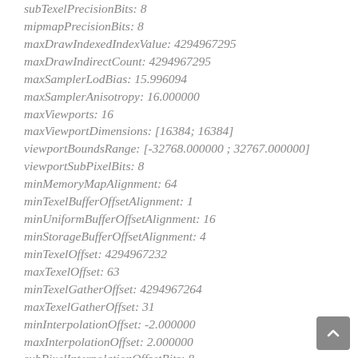subTexelPrecisionBits: 8
mipmapPrecisionBits: 8
maxDrawIndexedIndexValue: 4294967295
maxDrawIndirectCount: 4294967295
maxSamplerLodBias: 15.996094
maxSamplerAnisotropy: 16.000000
maxViewports: 16
maxViewportDimensions: [16384; 16384]
viewportBoundsRange: [-32768.000000 ; 32767.000000]
viewportSubPixelBits: 8
minMemoryMapAlignment: 64
minTexelBufferOffsetAlignment: 1
minUniformBufferOffsetAlignment: 16
minStorageBufferOffsetAlignment: 4
minTexelOffset: 4294967232
maxTexelOffset: 63
minTexelGatherOffset: 4294967264
maxTexelGatherOffset: 31
minInterpolationOffset: -2.000000
maxInterpolationOffset: 2.000000
subPixelInterpolationOffsetBits: 8